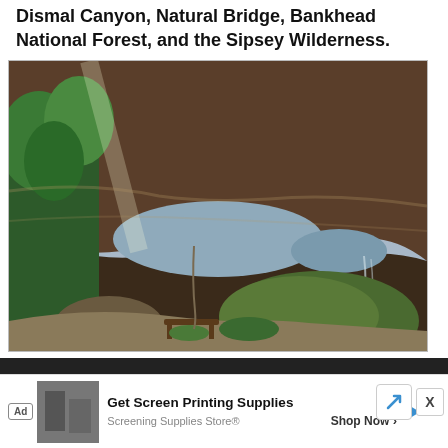Dismal Canyon, Natural Bridge, Bankhead National Forest, and the Sipsey Wilderness.
[Figure (photo): Photograph taken from below a large natural stone arch/bridge formation in a forested area. The sandstone arch frames a view of trees and sky. Large moss-covered boulders are in the foreground, along with a wooden bench and a dirt trail. Sunlight filters through the canopy above the arch.]
[Figure (photo): Partial view of a second photo, mostly obscured by an advertisement overlay at the bottom of the page.]
Ad Get Screen Printing Supplies
Screening Supplies Store® Shop Now >